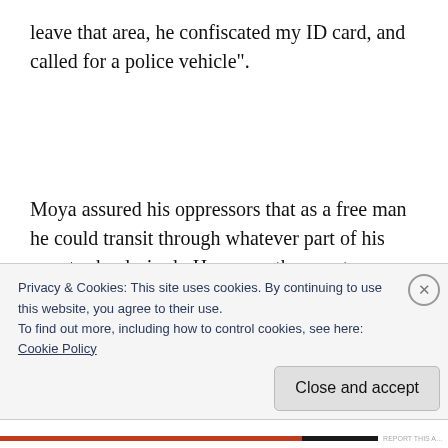leave that area, he confiscated my ID card, and called for a police vehicle".
Moya assured his oppressors that as a free man he could transit through whatever part of his country he desired.  However, the agents aggresively forced him into a police vehicle and
Privacy & Cookies: This site uses cookies. By continuing to use this website, you agree to their use.
To find out more, including how to control cookies, see here:
Cookie Policy